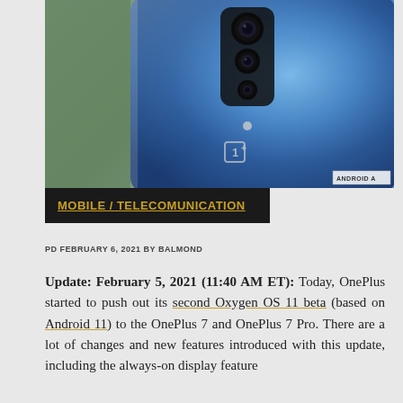[Figure (photo): Back of a blue OnePlus 7 Pro smartphone showing triple camera array and OnePlus logo, against a blurred green/grey background. Android Authority watermark visible in bottom right corner.]
MOBILE / TELECOMUNICATION
PD FEBRUARY 6, 2021 BY BALMOND
Update: February 5, 2021 (11:40 AM ET): Today, OnePlus started to push out its second Oxygen OS 11 beta (based on Android 11) to the OnePlus 7 and OnePlus 7 Pro. There are a lot of changes and new features introduced with this update, including the always-on display feature